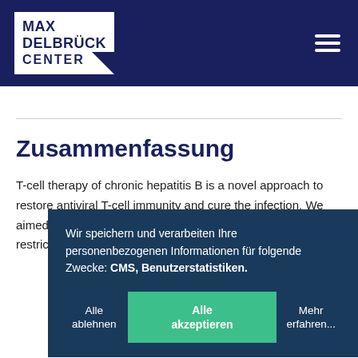MAX DELBRÜCK CENTER
Zusammenfassung
T-cell therapy of chronic hepatitis B is a novel approach to restore antiviral T-cell immunity and cure the infection. We aimed at ide... functional a... adoptive T-c... restricted, h... patients with... envelope- or...
Wir speichern und verarbeiten Ihre personenbezogenen Informationen für folgende Zwecke: CMS, Benutzerstatistiken.
Alle ablehnen
Alle akzeptieren
Mehr erfahren...